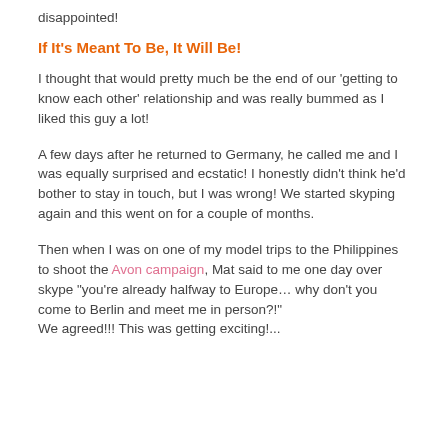disappointed!
If It's Meant To Be, It Will Be!
I thought that would pretty much be the end of our 'getting to know each other' relationship and was really bummed as I liked this guy a lot!
A few days after he returned to Germany, he called me and I was equally surprised and ecstatic! I honestly didn't think he'd bother to stay in touch, but I was wrong! We started skyping again and this went on for a couple of months.
Then when I was on one of my model trips to the Philippines to shoot the Avon campaign, Mat said to me one day over skype "you're already halfway to Europe… why don't you come to Berlin and meet me in person?!" We agreed!! This was getting exciting!...